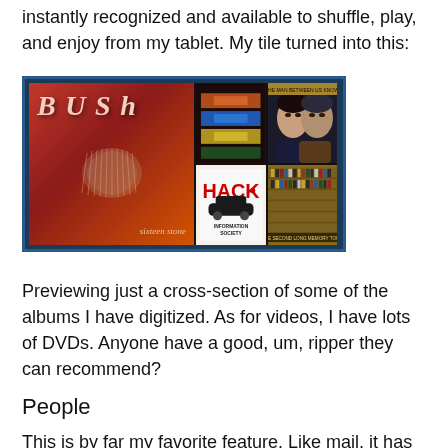instantly recognized and available to shuffle, play, and enjoy from my tablet. My tile turned into this:
[Figure (screenshot): A music app tile showing a grid of album covers including Bush (Sixteen Stone), Information Society (Hack), and other albums against a dark blue border background.]
Previewing just a cross-section of some of the albums I have digitized. As for videos, I have lots of DVDs. Anyone have a good, um, ripper they can recommend?
People
This is by far my favorite feature. Like mail, it has a lot of work left to be done. The interface is not great and in fact scanning updates is tedious. However, the potential is what excites me the most. I love this feature on my Windows Phone. Basically, add connections to social networks, mail,